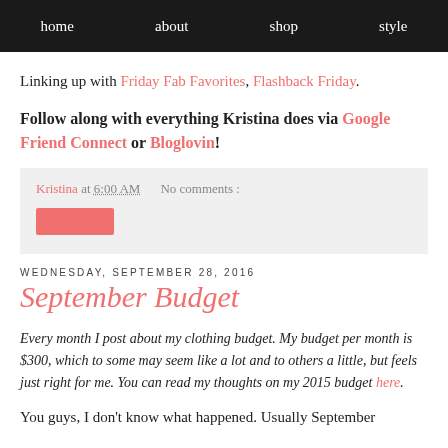home  about  shop  style
Linking up with Friday Fab Favorites, Flashback Friday.
Follow along with everything Kristina does via Google Friend Connect or Bloglovin!
Kristina at 6:00 AM   No comments :
WEDNESDAY, SEPTEMBER 28, 2016
September Budget
Every month I post about my clothing budget. My budget per month is $300, which to some may seem like a lot and to others a little, but feels just right for me. You can read my thoughts on my 2015 budget here.
You guys, I don't know what happened. Usually September